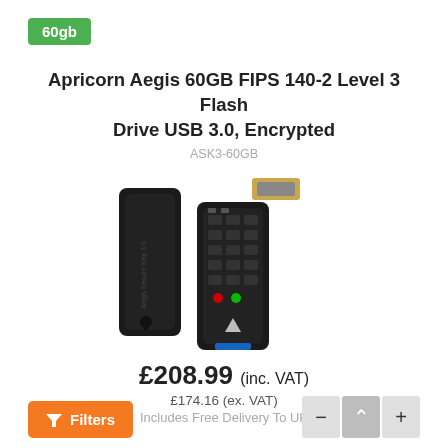60gb
Apricorn Aegis 60GB FIPS 140-2 Level 3 Flash Drive USB 3.0, Encrypted
ASK3-60GB
[Figure (photo): Product photo of Apricorn Aegis Secure Key 3.0 USB flash drive with numeric keypad, shown with cap removed and USB connector visible]
£208.99 (inc. VAT)
£174.16 (ex. VAT)
Includes Free Delivery To UK
Filters
− ∧ +